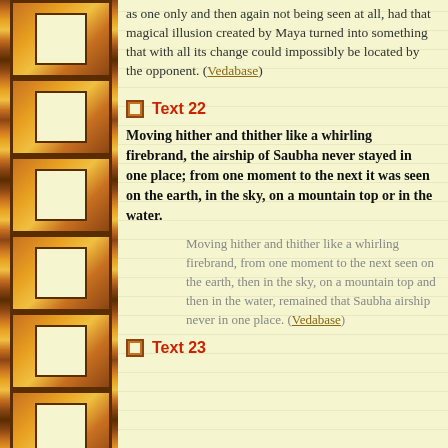as one only and then again not being seen at all, had that magical illusion created by Maya turned into something that with all its change could impossibly be located by the opponent. (Vedabase)
Text 22
Moving hither and thither like a whirling firebrand, the airship of Saubha never stayed in one place; from one moment to the next it was seen on the earth, in the sky, on a mountain top or in the water.
Moving hither and thither like a whirling firebrand, from one moment to the next seen on the earth, then in the sky, on a mountain top and then in the water, remained that Saubha airship never in one place. (Vedabase)
Text 23